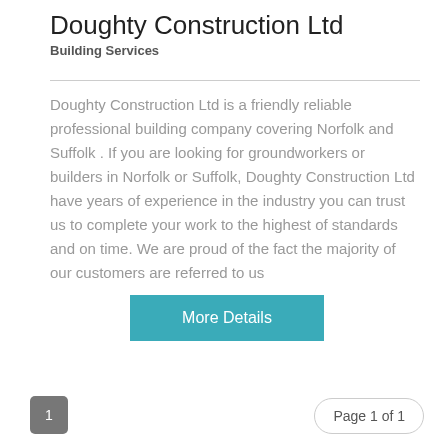Doughty Construction Ltd
Building Services
Doughty Construction Ltd is a friendly reliable professional building company covering Norfolk and Suffolk . If you are looking for groundworkers or builders in Norfolk or Suffolk, Doughty Construction Ltd have years of experience in the industry you can trust us to complete your work to the highest of standards and on time. We are proud of the fact the majority of our customers are referred to us
More Details
1  Page 1 of 1